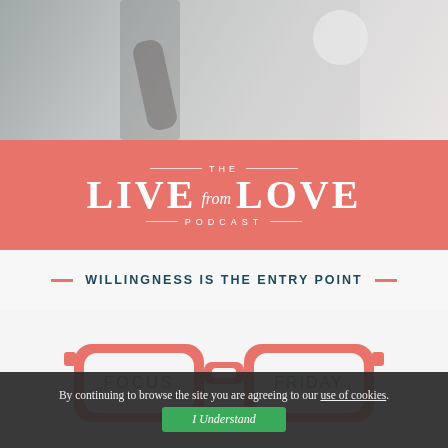[Figure (photo): Photo of a person's arm reaching toward a glass door or window, light background]
[Figure (logo): The Live from Love Podcast logo in white text on coral/salmon red background]
WILLINGNESS IS THE ENTRY POINT
[Figure (illustration): Coral/salmon colored glasses illustration with 'FOCUS FRIDAY' text inside the lenses on a light gray background]
By continuing to browse the site you are agreeing to our use of cookies.
I Understand